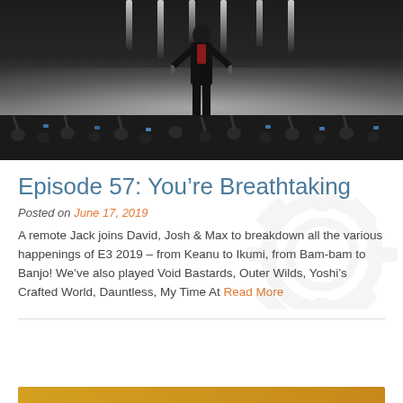[Figure (photo): A man in a dark suit standing on a stage with arms spread wide, dramatic lighting with vertical stage lights above, fog at ground level, and a crowd with raised hands and phone lights visible below.]
Episode 57: You’re Breathtaking
Posted on June 17, 2019
A remote Jack joins David, Josh & Max to breakdown all the various happenings of E3 2019 – from Keanu to Ikumi, from Bam-bam to Banjo! We’ve also played Void Bastards, Outer Wilds, Yoshi’s Crafted World, Dauntless, My Time At Read More